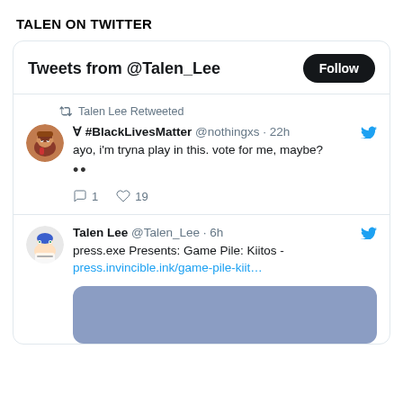TALEN ON TWITTER
[Figure (screenshot): Twitter widget showing 'Tweets from @Talen_Lee' with a Follow button, a retweet from @nothingxs about #BlackLivesMatter with text 'ayo, i'm tryna play in this. vote for me, maybe?' with 1 reply and 19 likes, and a tweet by Talen Lee about 'press.exe Presents: Game Pile: Kiitos - press.invincible.ink/game-pile-kiit...' with a blue image preview.]